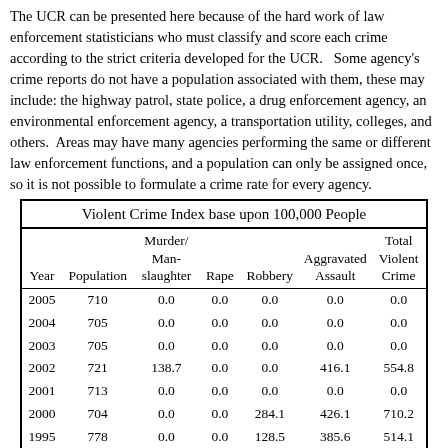The UCR can be presented here because of the hard work of law enforcement statisticians who must classify and score each crime according to the strict criteria developed for the UCR.   Some agency's crime reports do not have a population associated with them, these may include: the highway patrol, state police, a drug enforcement agency, an environmental enforcement agency, a transportation utility, colleges, and others.  Areas may have many agencies performing the same or different law enforcement functions, and a population can only be assigned once, so it is not possible to formulate a crime rate for every agency.
| Year | Population | Murder/
Man-
slaughter | Rape | Robbery | Aggravated
Assault | Total
Violent
Crime |
| --- | --- | --- | --- | --- | --- | --- |
| 2005 | 710 | 0.0 | 0.0 | 0.0 | 0.0 | 0.0 |
| 2004 | 705 | 0.0 | 0.0 | 0.0 | 0.0 | 0.0 |
| 2003 | 705 | 0.0 | 0.0 | 0.0 | 0.0 | 0.0 |
| 2002 | 721 | 138.7 | 0.0 | 0.0 | 416.1 | 554.8 |
| 2001 | 713 | 0.0 | 0.0 | 0.0 | 0.0 | 0.0 |
| 2000 | 704 | 0.0 | 0.0 | 284.1 | 426.1 | 710.2 |
| 1995 | 778 | 0.0 | 0.0 | 128.5 | 385.6 | 514.1 |
| 1990 | 745 | 0.0 | 0.0 | 0.0 | 0.0 | 0.0 |
| 1985 | 695 | 0.0 | 0.0 | 0.0 | 0.0 | 0.0 |